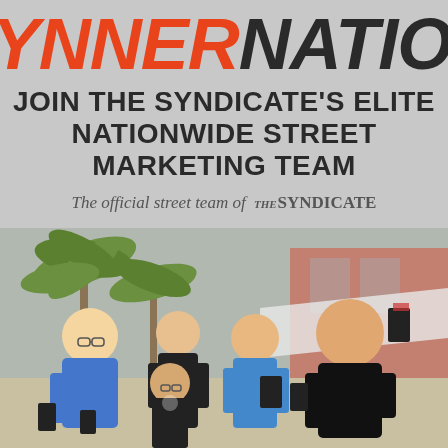SYNNERNATION
JOIN THE SYNDICATE'S ELITE NATIONWIDE STREET MARKETING TEAM
The official street team of THE SYNDICATE
[Figure (photo): Group photo of five young people outdoors holding up dark booklets/merchandise, with palm trees and a building in the background. They are smiling and posing energetically.]